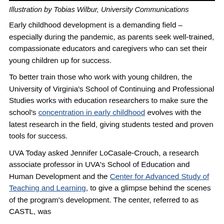Illustration by Tobias Wilbur, University Communications
Early childhood development is a demanding field – especially during the pandemic, as parents seek well-trained, compassionate educators and caregivers who can set their young children up for success.
To better train those who work with young children, the University of Virginia's School of Continuing and Professional Studies works with education researchers to make sure the school's concentration in early childhood evolves with the latest research in the field, giving students tested and proven tools for success.
UVA Today asked Jennifer LoCasale-Crouch, a research associate professor in UVA's School of Education and Human Development and the Center for Advanced Study of Teaching and Learning, to give a glimpse behind the scenes of the program's development. The center, referred to as CASTL, was